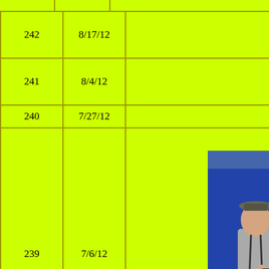| # | Date | Title |
| --- | --- | --- |
|  |  | Aroo Nomination [badge] |
| 242 | 8/17/12 | Broadway Bal... |
| 241 | 8/4/12 | 2012 Colby Award... |
| 240 | 7/27/12 | Taming of the S... |
| 239 | 7/6/12 | Assassins [photo] |
| 238 | 4/17/12 | The Pot Boil... |
|  |  | Those Thrilling Days... |